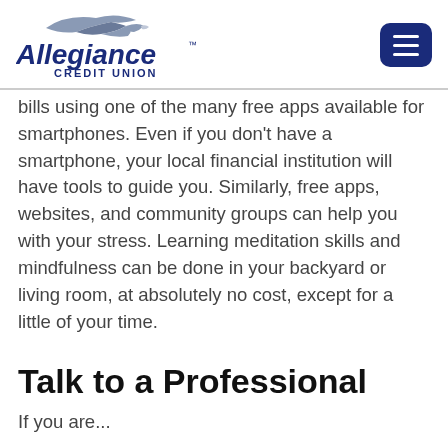Allegiance Credit Union
bills using one of the many free apps available for smartphones. Even if you don't have a smartphone, your local financial institution will have tools to guide you. Similarly, free apps, websites, and community groups can help you with your stress. Learning meditation skills and mindfulness can be done in your backyard or living room, at absolutely no cost, except for a little of your time.
Talk to a Professional
If you are...